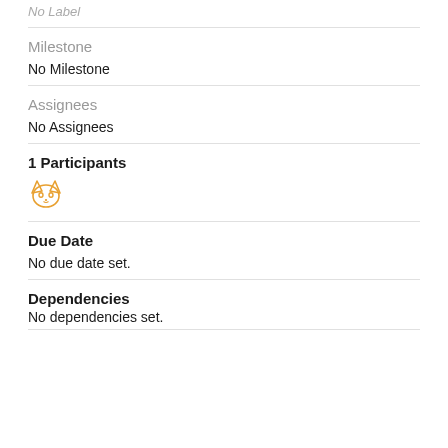No Label
Milestone
No Milestone
Assignees
No Assignees
1 Participants
[Figure (illustration): Orange fox/cat avatar icon]
Due Date
No due date set.
Dependencies
No dependencies set.